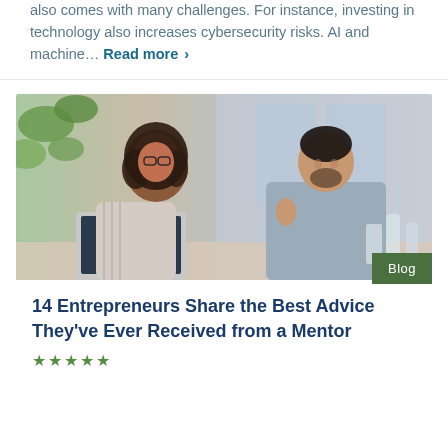also comes with many challenges. For instance, investing in technology also increases cybersecurity risks. AI and machine… Read more ›
[Figure (photo): Two professionals, a young woman with glasses and curly hair and a man in a grey shirt, having a discussion at a table with a laptop open in front of them. There are plants and windows in the background.]
Blog
14 Entrepreneurs Share the Best Advice They've Ever Received from a Mentor
★★★★★